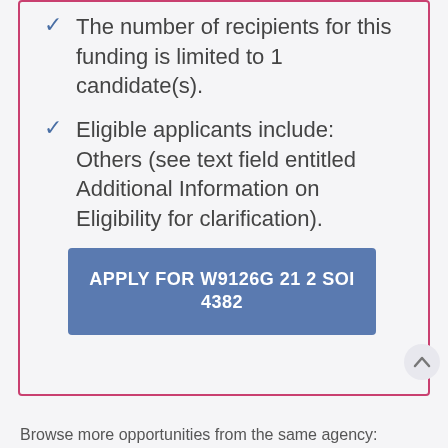The number of recipients for this funding is limited to 1 candidate(s).
Eligible applicants include: Others (see text field entitled Additional Information on Eligibility for clarification).
APPLY FOR W9126G 21 2 SOI 4382
Browse more opportunities from the same agency: